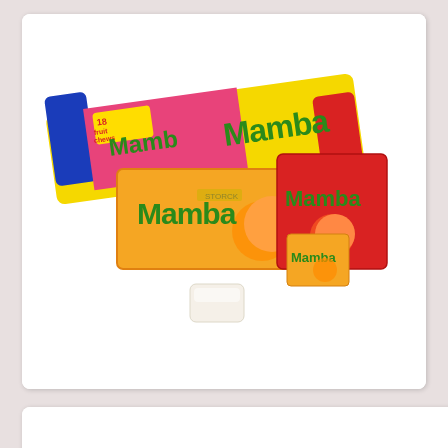[Figure (photo): Product photo of Mamba candy packages — multiple colorful rectangular packs in pink, orange, and red with the 'Mamba' brand name in green letters, plus a loose white candy piece in the foreground. One large bar shows '18 fruit chews'. Brands: Mamba (Storck).]
[Figure (photo): Product photo of a Mentos 'Mixed Fruit' candy roll — a cylindrical roll with yellow/orange wrapper, blue 'mentos' lettering, and 'mixed fruit' branding visible on an otherwise white background.]